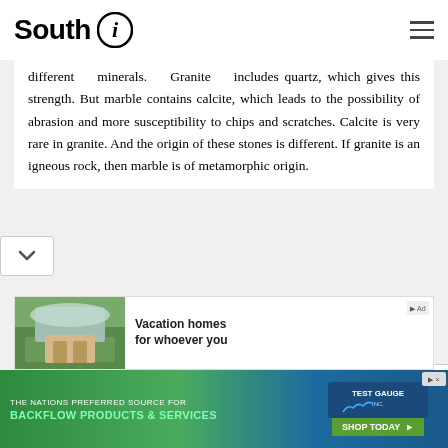South i
different minerals. Granite includes quartz, which gives this strength. But marble contains calcite, which leads to the possibility of abrasion and more susceptibility to chips and scratches. Calcite is very rare in granite. And the origin of these stones is different. If granite is an igneous rock, then marble is of metamorphic origin.
[Figure (infographic): Social sharing buttons: Facebook (blue), Twitter (light blue), Email/envelope (dark grey), Pinterest (red), More/plus (orange-red)]
[Figure (infographic): Advertisement banner: photo of mountain vacation home on left, text 'Vacation homes for whoever you' on right with arrow badge]
[Figure (infographic): Bottom advertisement bar: 'The Nations Preferred Source For BACKFLOW PRODUCTS & SERVICES' with Test Gauge Inc. logo and 'SHOP TODAY' button]